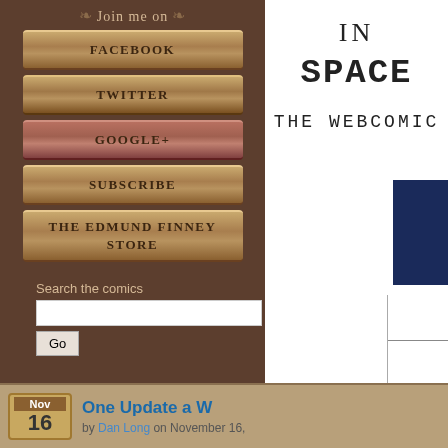Join me on
[Figure (screenshot): Book-styled navigation buttons: FACEBOOK, TWITTER, GOOGLE+, SUBSCRIBE, THE EDMUND FINNEY STORE]
Search the comics
[Figure (screenshot): Webcomic title panel showing 'IN SPACE THE WEBCOMIC' with partial thumbnails and black panel on right]
Nov 16 One Update a W... by Dan Long on November 16,...